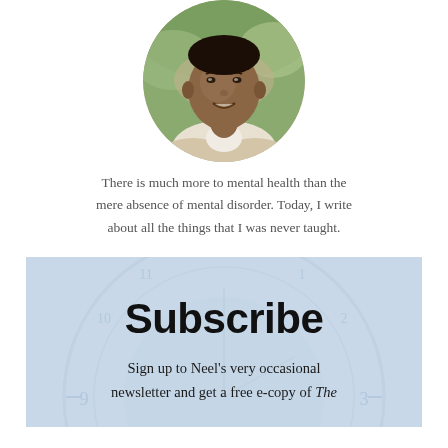[Figure (photo): Circular cropped headshot photo of a man smiling, outdoors with green background]
There is much more to mental health than the mere absence of mental disorder. Today, I write about all the things that I was never taught.
[Figure (illustration): Subscribe box with light blue background featuring a faint circular clock/compass decorative graphic]
Subscribe
Sign up to Neel's very occasional newsletter and get a free e-copy of The